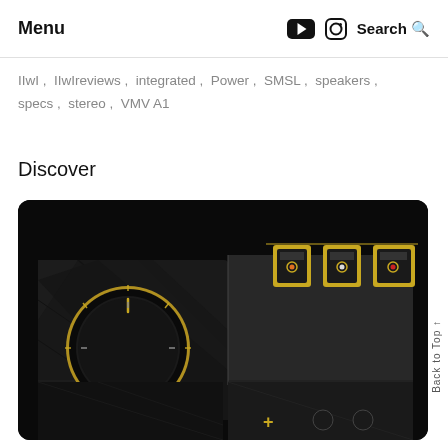Menu | Search
IIwI , IIwIreviews , integrated , Power , SMSL , speakers , specs , stereo , VMV A1
Discover
[Figure (photo): Close-up photo of a black and gold audio amplifier (SMSL VMV A1) showing a large gold-rimmed volume knob on the left and three gold RCA input connectors on the right against a black chassis with geometric angular design]
Back to Top ↑